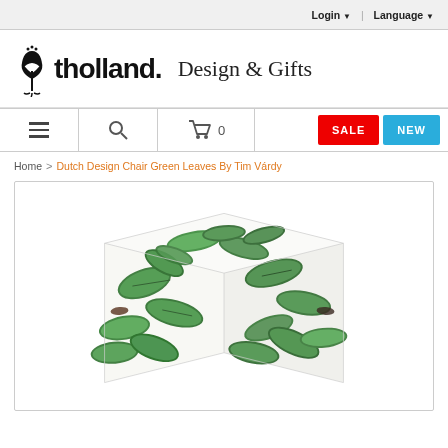Login ▼  Language ▼
[Figure (logo): Holland Design & Gifts logo with tulip icon and handwritten-style text]
[Figure (screenshot): Navigation bar with hamburger menu, search icon, cart with 0 items, SALE button (red), NEW button (blue)]
Home > Dutch Design Chair Green Leaves By Tim Várdy
[Figure (photo): Dutch Design Chair covered in green leaves pattern (botanical illustration style), cube-shaped stool on white background]